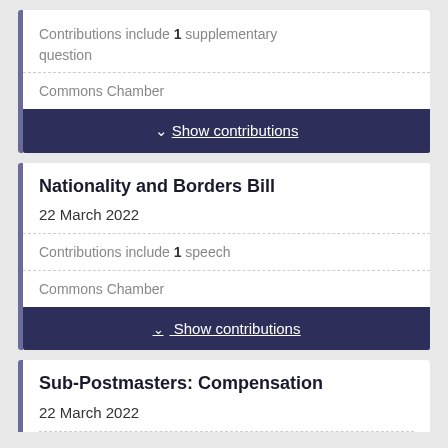Contributions include 1 supplementary question
Commons Chamber
Show contributions
Nationality and Borders Bill
22 March 2022
Contributions include 1 speech
Commons Chamber
Show contributions
Sub-Postmasters: Compensation
22 March 2022